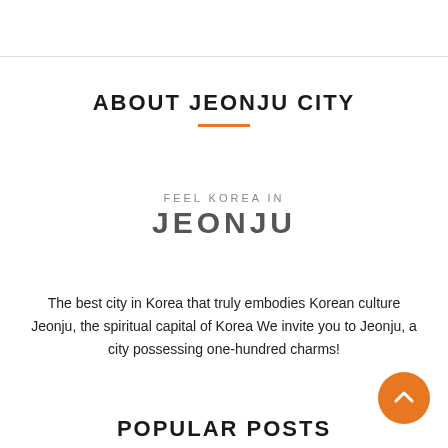ABOUT JEONJU CITY
[Figure (logo): FEEL KOREA IN JEONJU logo text — small text 'FEEL KOREA IN' above large bold 'JEONJU']
The best city in Korea that truly embodies Korean culture Jeonju, the spiritual capital of Korea We invite you to Jeonju, a city possessing one-hundred charms!
POPULAR POSTS